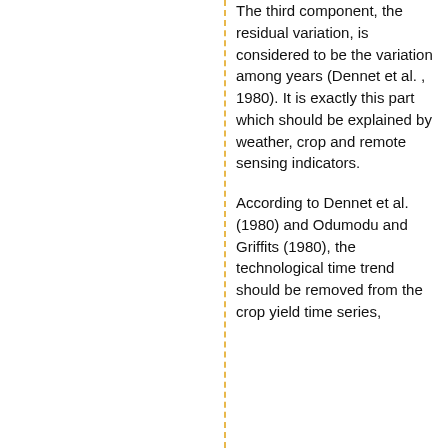The third component, the residual variation, is considered to be the variation among years (Dennet et al. , 1980). It is exactly this part which should be explained by weather, crop and remote sensing indicators.
According to Dennet et al. (1980) and Odumodu and Griffits (1980), the technological time trend should be removed from the crop yield time series,